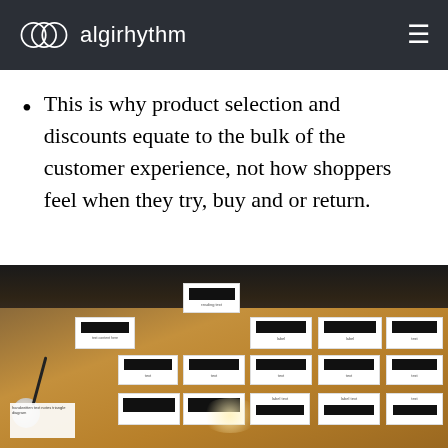algirhythm
This is why product selection and discounts equate to the bulk of the customer experience, not how shoppers feel when they try, buy and or return.
[Figure (photo): Photo of index cards laid out on a wooden table in a hierarchical/card-sorting arrangement. Cards contain handwritten text, some with black redacted sections. A coffee cup and marker are visible on the left side.]